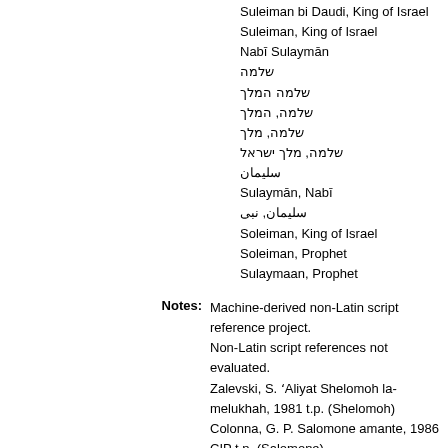Suleiman bi Daudi, King of Israel
Suleiman, King of Israel
Nabī Sulaymān
שלמה
שלמה המלך
שלמה, המלך
שלמה, מלך
שלמה, מלך ישראל
سليمان
Sulaymān, Nabī
سليمان, نبی
Soleiman, King of Israel
Soleiman, Prophet
Sulaymaan, Prophet
Notes: Machine-derived non-Latin script reference project. Non-Latin script references not evaluated. Zalevski, S. ʻAliyat Shelomoh la-melukhah, 1981 t.p. (Shelomoh) Colonna, G. P. Salomone amante, 1986 CIP t.p. (Salomone) Abramski, Sh. Ḳohelet, 1989 t.p. (Kohelet; ha-melekh he-ḥakham)